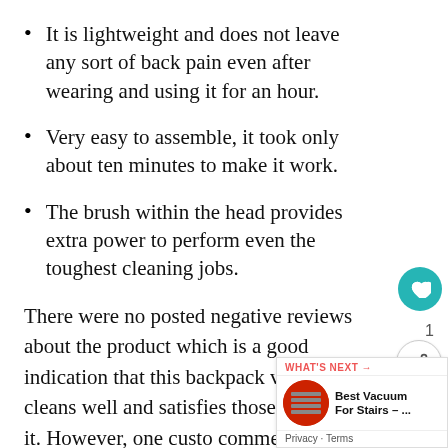It is lightweight and does not leave any sort of back pain even after wearing and using it for an hour.
Very easy to assemble, it took only about ten minutes to make it work.
The brush within the head provides extra power to perform even the toughest cleaning jobs.
There were no posted negative reviews about the product which is a good indication that this backpack vacuum cleans well and satisfies those who use it. However, one custo commented that it does not clean up dog h